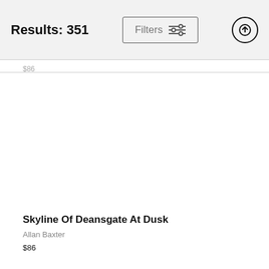Results: 351
$86
Skyline Of Deansgate At Dusk
Allan Baxter
$86